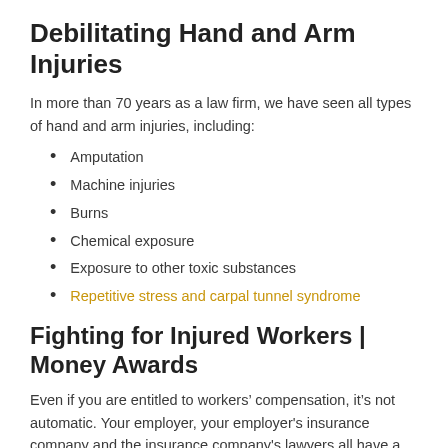Debilitating Hand and Arm Injuries
In more than 70 years as a law firm, we have seen all types of hand and arm injuries, including:
Amputation
Machine injuries
Burns
Chemical exposure
Exposure to other toxic substances
Repetitive stress and carpal tunnel syndrome
Fighting for Injured Workers | Money Awards
Even if you are entitled to workers’ compensation, it’s not automatic. Your employer, your employer's insurance company and the insurance company's lawyers all have a vested interest in making sure you don't get the money